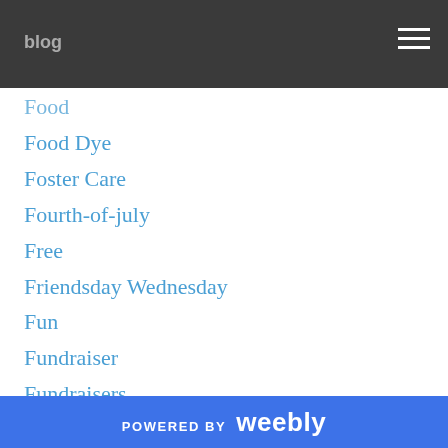blog
Food
Food Dye
Foster Care
Fourth-of-july
Free
Friendsday Wednesday
Fun
Fundraiser
Fundraisers
Furniture
Gabrielle
Gardening
Gary
Germs
Ghosts
Gift
POWERED BY weebly